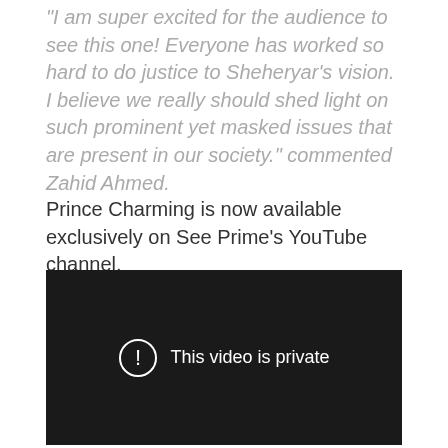“I am super excited for the audience to see this one! Everyone has worked so hard to do justice to Sheheryar’s vision. I believe we really should shed light on such prominent yet masked issues that are present in our society.” commented Zahid Ahmed.
Prince Charming is now available exclusively on See Prime’s YouTube channel.
[Figure (screenshot): A dark video player showing the message 'This video is private' with a circle exclamation icon.]